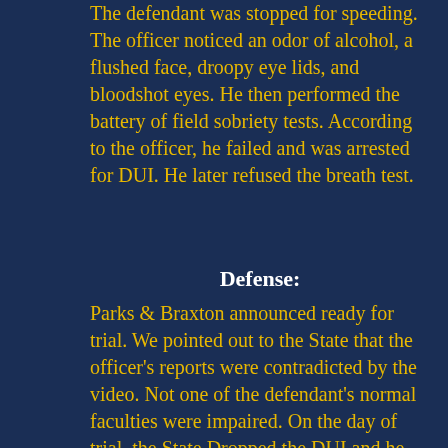The defendant was stopped for speeding. The officer noticed an odor of alcohol, a flushed face, droopy eye lids, and bloodshot eyes. He then performed the battery of field sobriety tests. According to the officer, he failed and was arrested for DUI. He later refused the breath test.
Defense:
Parks & Braxton announced ready for trial. We pointed out to the State that the officer's reports were contradicted by the video. Not one of the defendant's normal faculties were impaired. On the day of trial, the State Dropped the DUI and he received no conviction on his record.